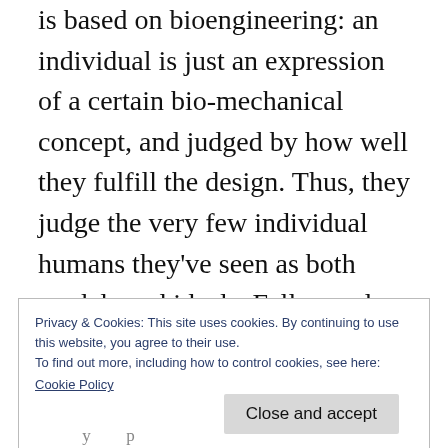is based on bioengineering: an individual is just an expression of a certain bio-mechanical concept, and judged by how well they fulfill the design. Thus, they judge the very few individual humans they've seen as both models and ideals. Fallon and a dead crewmate were their first examples; Smarrita and Warner were the next two. When it becomes apparent to them that Fallon and to a lesser extent Smarrita, are in fact far from the fit, athletic ideal they see in Warner, the aliens decide to fix them –
Privacy & Cookies: This site uses cookies. By continuing to use this website, you agree to their use.
To find out more, including how to control cookies, see here:
Cookie Policy
Close and accept
y p